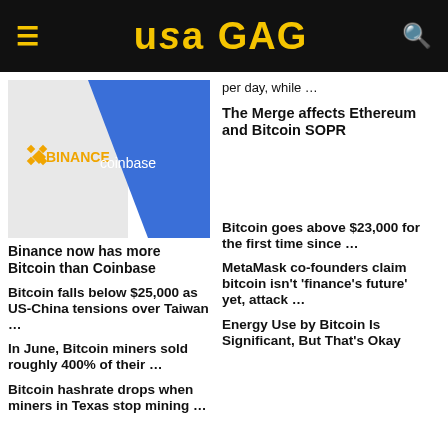USA GAG
per day, while …
The Merge affects Ethereum and Bitcoin SOPR
[Figure (photo): Split image: left half shows Binance logo on gray background, right half shows Coinbase logo on blue background]
Binance now has more Bitcoin than Coinbase
Bitcoin falls below $25,000 as US-China tensions over Taiwan …
Bitcoin goes above $23,000 for the first time since …
In June, Bitcoin miners sold roughly 400% of their …
MetaMask co-founders claim bitcoin isn't 'finance's future' yet, attack …
Bitcoin hashrate drops when miners in Texas stop mining …
Energy Use by Bitcoin Is Significant, But That's Okay